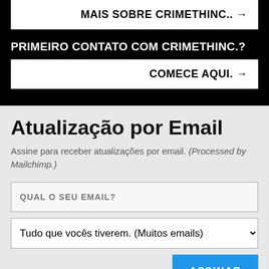MAIS SOBRE CRIMETHINC.. →
PRIMEIRO CONTATO COM CRIMETHINC.?
COMECE AQUI. →
Atualização por Email
Assine para receber atualizações por email. (Processed by Mailchimp.)
QUAL O SEU EMAIL?
Tudo que vocês tiverem. (Muitos emails)
ASSINAR
Encontre-nos em outro lugar